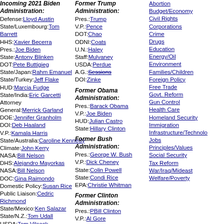Incoming 2021 Biden Administration:
Defense: Lloyd Austin
State/Luxembourg: Tom Barrett
HHS: Xavier Becerra
Pres.: Joe Biden
State: Antony Blinken
DOT: Pete Buttigieg
State/Japan: Rahm Emanuel
State/Turkey: Jeff Flake
HUD: Marcia Fudge
State/India: Eric Garcetti
Attorney General: Merrick Garland
DOE: Jennifer Granholm
DOI: Deb Haaland
V.P.: Kamala Harris
State/Australia: Caroline Kennedy
Climate: John Kerry
NASA: Bill Nelson
DHS: Alejandro Mayorkas
NASA: Bill Nelson
DOC: Gina Raimondo
Domestic Policy: Susan Rice
Public Liaison: Cedric Richmond
State/Mexico: Ken Salazar
State/N.Z.: Tom Udall
USDA: Tom Vilsack
DOL: Marty Walsh
Treasury: Janet Yellen
Cabinet Archives:
Biden Cabinet
Biden Administration
Trump Cabinet
Trump Administration
Obama Cabinet
Bush Cabinet
Former Trump Administration:
Pres.: Trump
V.P.: Pence
DOT: Chao
ODNI: Coats
U.N.: Haley
Staff: Mulvaney
USDA: Perdue
A.G.: Sessions (strikethrough)
DOI: Zinke
Former Obama Administration:
Pres.: Barack Obama
V.P.: Joe Biden
HUD: Julian Castro
State: Hillary Clinton
Former Bush Administration:
Pres.: George W. Bush
V.P.: Dick Cheney
State: Colin Powell
State: Condi Rice
EPA: Christie Whitman
Former Clinton Administration:
Pres.: PBill Clinton
V.P.: Al Gore
HUD: Andrew Cuomo
DOL: Robert Reich
A.G.: Janet Reno
State: Madeleine Albright
Abortion
Budget/Economy
Civil Rights
Corporations
Crime
Drugs
Education
Energy/Oil
Environment
Families/Children
Foreign Policy
Free Trade
Govt. Reform
Gun Control
Health Care
Homeland Security
Immigration
Infrastructure/Technology
Jobs
Principles/Values
Social Security
Tax Reform
War/Iraq/Mideast
Welfare/Poverty